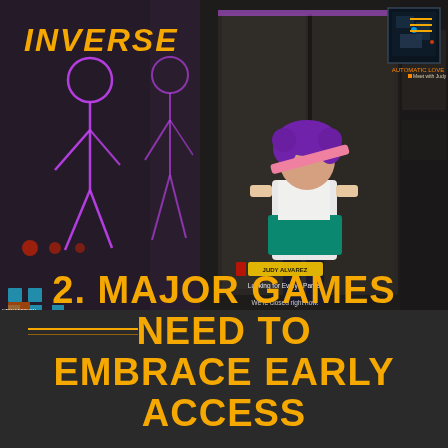INVERSE
[Figure (screenshot): Screenshot of a cyberpunk video game showing a female character with purple hair carrying a large weapon over her shoulder, standing in a neon-lit environment. Game UI elements visible including quest text 'Looking for Evelyn Parker', dialogue 'We're closed right now.', and side quest markers on the left side.]
2. MAJOR GAMES NEED TO EMBRACE EARLY ACCESS